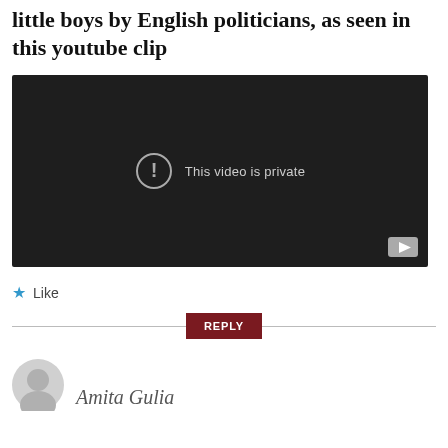little boys by English politicians, as seen in this youtube clip
[Figure (screenshot): Embedded YouTube video player showing 'This video is private' error message on dark background, with YouTube logo button in bottom-right corner.]
Like
REPLY
Amita Gulia